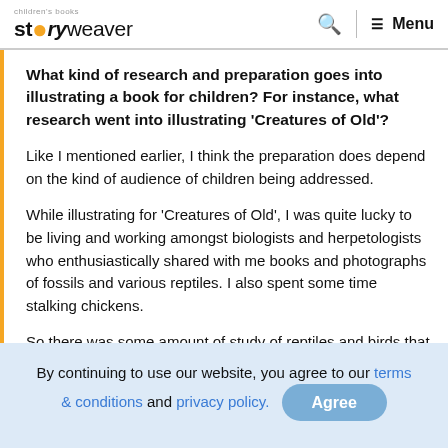storyweaver [logo with search and menu]
What kind of research and preparation goes into illustrating a book for children? For instance, what research went into illustrating 'Creatures of Old'?
Like I mentioned earlier, I think the preparation does depend on the kind of audience of children being addressed.
While illustrating for 'Creatures of Old', I was quite lucky to be living and working amongst biologists and herpetologists who enthusiastically shared with me books and photographs of fossils and various reptiles. I also spent some time stalking chickens.
So there was some amount of study of reptiles and birds that went into the drawings.
By continuing to use our website, you agree to our terms & conditions and privacy policy. [Agree button]